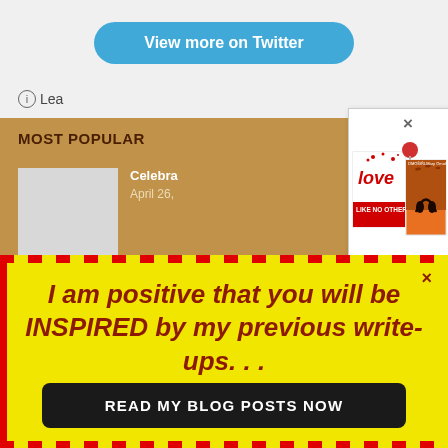[Figure (screenshot): Screenshot of a webpage showing a Twitter button, info text, orange bar, and book covers popup]
View more on Twitter
Lea
MOST POPULAR
Celebra
April 26,
[Figure (illustration): Book covers: 'Love Like No Other' and another book with silhouette cover, with red pin/tack]
× I am positive that you will be INSPIRED by my previous write-ups. . .
READ MY BLOG POSTS NOW